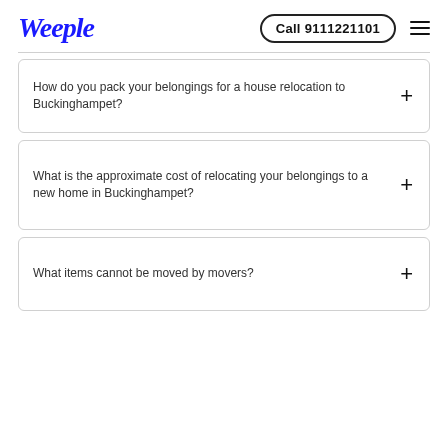Weeple | Call 9111221101
How do you pack your belongings for a house relocation to Buckinghampet?
What is the approximate cost of relocating your belongings to a new home in Buckinghampet?
What items cannot be moved by movers?